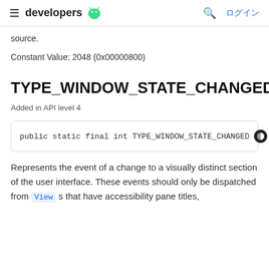≡ developers 🤖  🔍 ログイン
source.
Constant Value: 2048 (0x00000800)
TYPE_WINDOW_STATE_CHANGED
Added in API level 4
public static final int TYPE_WINDOW_STATE_CHANGED
Represents the event of a change to a visually distinct section of the user interface. These events should only be dispatched from Views that have accessibility pane titles, and when TYPE_WINDOW_CONTENT_CHANGED for the